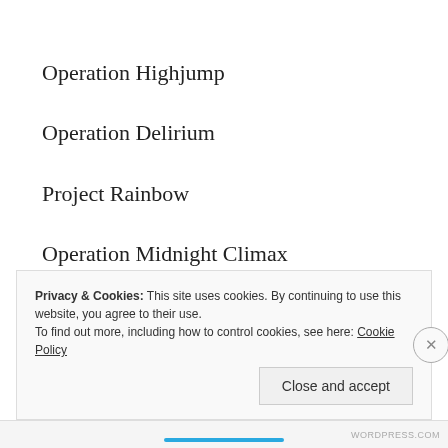Operation Highjump
Operation Delirium
Project Rainbow
Operation Midnight Climax
Project Woodpecker
Project Stagate – Grill Flame,  Sun Streak
Privacy & Cookies: This site uses cookies. By continuing to use this website, you agree to their use.
To find out more, including how to control cookies, see here: Cookie Policy
Close and accept